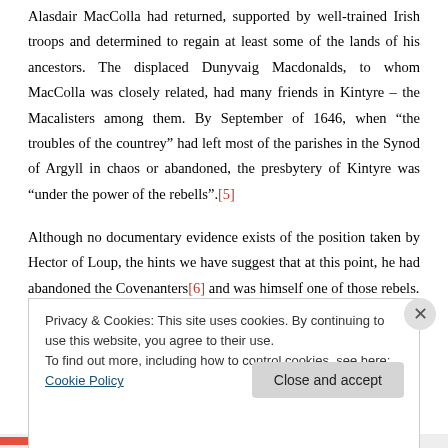Alasdair MacColla had returned, supported by well-trained Irish troops and determined to regain at least some of the lands of his ancestors. The displaced Dunyvaig Macdonalds, to whom MacColla was closely related, had many friends in Kintyre – the Macalisters among them. By September of 1646, when “the troubles of the countrey” had left most of the parishes in the Synod of Argyll in chaos or abandoned, the presbytery of Kintyre was “under the power of the rebells”.[5]
Although no documentary evidence exists of the position taken by Hector of Loup, the hints we have suggest that at this point, he had abandoned the Covenanters[6] and was himself one of those rebels.
Privacy & Cookies: This site uses cookies. By continuing to use this website, you agree to their use. To find out more, including how to control cookies, see here: Cookie Policy